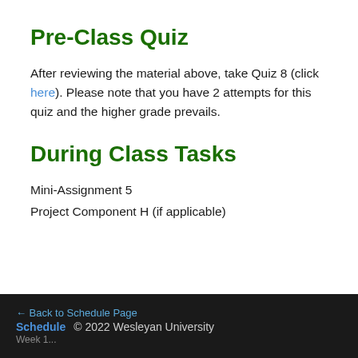Pre-Class Quiz
After reviewing the material above, take Quiz 8 (click here). Please note that you have 2 attempts for this quiz and the higher grade prevails.
During Class Tasks
Mini-Assignment 5
Project Component H (if applicable)
← Back to Schedule Page  Schedule  © 2022 Wesleyan University  Week 1...